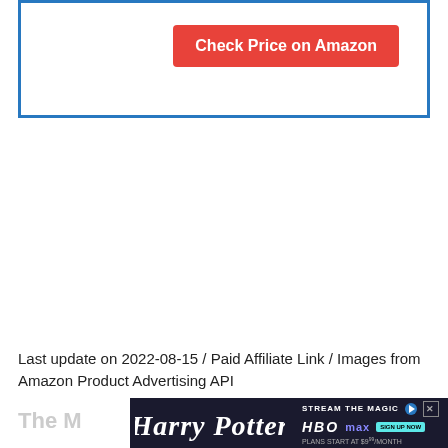[Figure (other): Blue-bordered white box containing a red 'Check Price on Amazon' button]
Last update on 2022-08-15 / Paid Affiliate Link / Images from Amazon Product Advertising API
[Figure (other): Harry Potter / HBO Max advertisement banner with Harry Potter logo and 'Stream the Magic' tagline]
The M